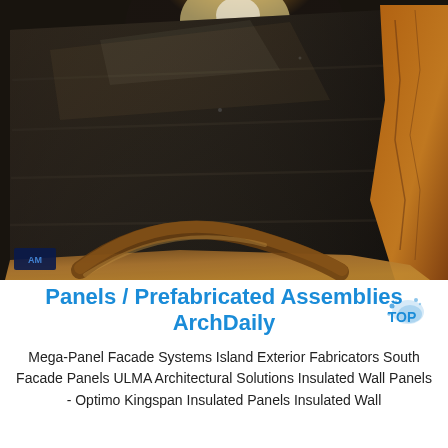[Figure (photo): Close-up photo of large dark metallic facade panels stacked and wrapped partially in orange/brown protective plastic sheeting, with a bright light source visible in the upper center of the image.]
Panels / Prefabricated Assemblies ArchDaily
Mega-Panel Facade Systems Island Exterior Fabricators South Facade Panels ULMA Architectural Solutions Insulated Wall Panels - Optimo Kingspan Insulated Panels Insulated Wall